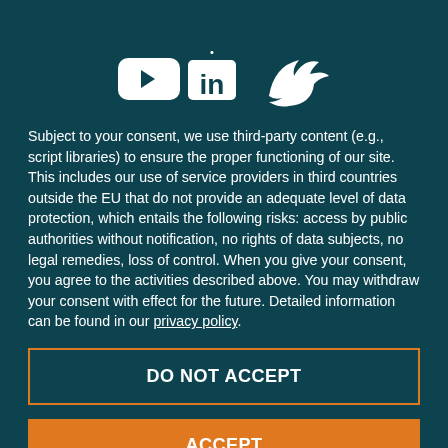[Figure (infographic): Three white social media icons: YouTube play button, LinkedIn 'in' logo, and Twitter bird logo, centered on dark teal background.]
Subject to your consent, we use third-party content (e.g., script libraries) to ensure the proper functioning of our site. This includes our use of service providers in third countries outside the EU that do not provide an adequate level of data protection, which entails the following risks: access by public authorities without notification, no rights of data subjects, no legal remedies, loss of control. When you give your consent, you agree to the activities described above. You may withdraw your consent with effect for the future. Detailed information can be found in our privacy policy.
DO NOT ACCEPT
ACCEPT